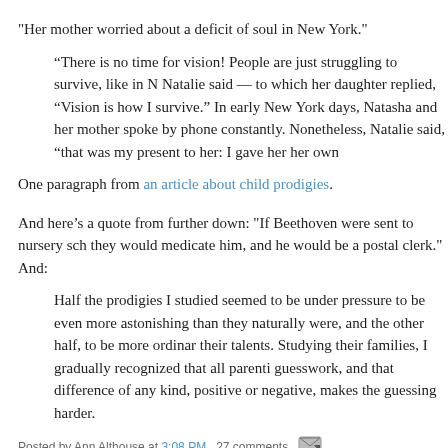"Her mother worried about a deficit of soul in New York."
“There is no time for vision! People are just struggling to survive, like in N... Natalie said — to which her daughter replied, “Vision is how I survive.” In early New York days, Natasha and her mother spoke by phone constantly. Nonetheless, Natalie said, “that was my present to her: I gave her her own
One paragraph from an article about child prodigies.
And here’s a quote from further down: "If Beethoven were sent to nursery sch... they would medicate him, and he would be a postal clerk." And:
Half the prodigies I studied seemed to be under pressure to be even more astonishing than they naturally were, and the other half, to be more ordinar... their talents. Studying their families, I gradually recognized that all parenti... guesswork, and that difference of any kind, positive or negative, makes the... guessing harder.
Posted by Ann Althouse at 3:08 PM  27 comments
Tags: children, city life, motherhood